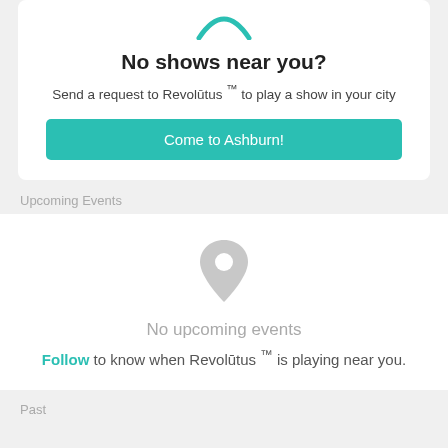[Figure (illustration): Teal semicircle/swoosh icon at top of card]
No shows near you?
Send a request to Revolūtus ™ to play a show in your city
Come to Ashburn!
Upcoming Events
[Figure (illustration): Grey map pin / location marker icon]
No upcoming events
Follow to know when Revolūtus ™ is playing near you.
Past